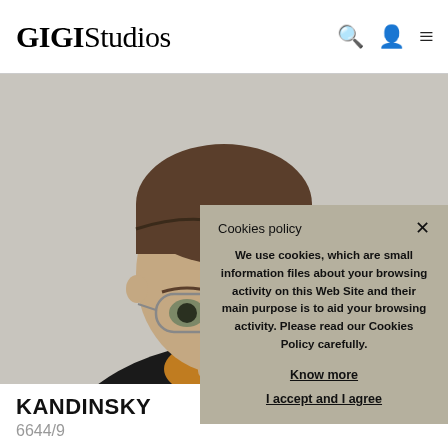GIGIStudios
[Figure (photo): A person peeking from behind the frame, wearing round glasses and a dark jacket with an orange/yellow collar, against a light grey background.]
KANDINSKY
6644/9
Cookies policy

We use cookies, which are small information files about your browsing activity on this Web Site and their main purpose is to aid your browsing activity. Please read our Cookies Policy carefully.

Know more

I accept and I agree